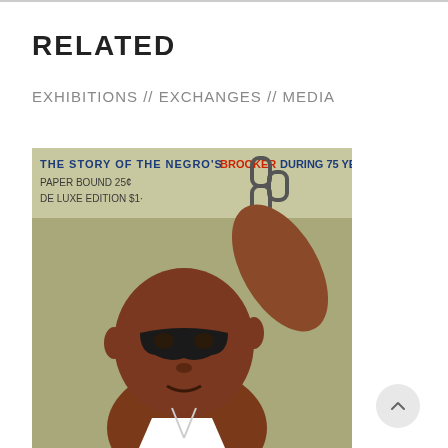RELATED
EXHIBITIONS // EXCHANGES // MEDIA
[Figure (photo): Vintage illustration or poster showing a Black male figure with one arm raised, wearing a mask over his eyes. Text at top reads: THE STORY OF THE NEGRO'S BROOKER DURING 75 YEARS, PAPER BOUND 25¢, DE LUXE EDITION $1.]